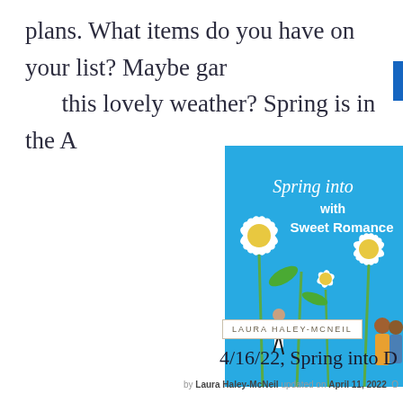plans. What items do you have on your list? Maybe gar
this lovely weather? Spring is in the A
[Figure (illustration): Advertisement banner with blue sky background, white daisy flowers, and text reading 'Spring into with Sweet Romance' in white script and bold fonts. People in background.]
LAURA HALEY-MCNEIL
4/16/22, Spring into D
by Laura Haley-McNeil updated on April 11, 2022